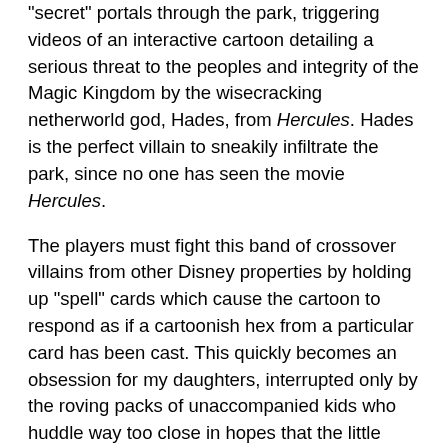“secret” portals through the park, triggering videos of an interactive cartoon detailing a serious threat to the peoples and integrity of the Magic Kingdom by the wisecracking netherworld god, Hades, from Hercules. Hades is the perfect villain to sneakily infiltrate the park, since no one has seen the movie Hercules.
The players must fight this band of crossover villains from other Disney properties by holding up “spell” cards which cause the cartoon to respond as if a cartoonish hex from a particular card has been cast. This quickly becomes an obsession for my daughters, interrupted only by the roving packs of unaccompanied kids who huddle way too close in hopes that the little ones may have doubles of desirable spell cards that they can be coerced into trading or giving away to the roving packs. When I ask one boy, clearly nine or 10 years old, to kindly back away from Kallista, five, who can barely figure out how to hold